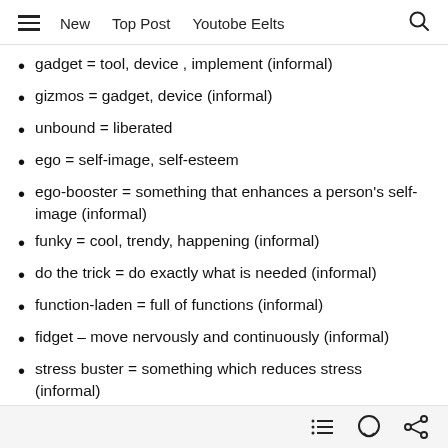New   Top Post   Youtobe Eelts
gadget = tool, device , implement (informal)
gizmos = gadget, device (informal)
unbound = liberated
ego = self-image, self-esteem
ego-booster = something that enhances a person's self-image (informal)
funky = cool, trendy, happening (informal)
do the trick = do exactly what is needed (informal)
function-laden = full of functions (informal)
fidget – move nervously and continuously (informal)
stress buster = something which reduces stress (informal)
to be after something = to want something